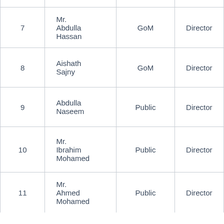| No. | Name | Category | Designation |
| --- | --- | --- | --- |
| 7 | Mr. Abdulla Hassan | GoM | Director |
| 8 | Aishath Sajny | GoM | Director |
| 9 | Abdulla Naseem | Public | Director |
| 10 | Mr. Ibrahim Mohamed | Public | Director |
| 11 | Mr. Ahmed Mohamed | Public | Director |